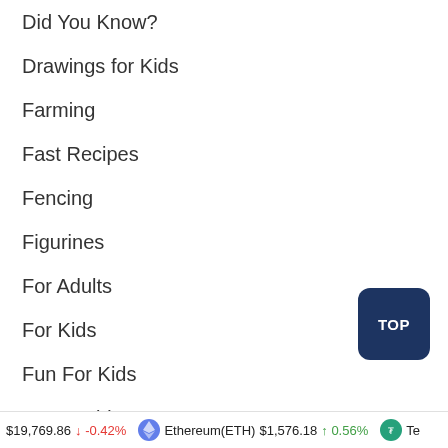Did You Know?
Drawings for Kids
Farming
Fast Recipes
Fencing
Figurines
For Adults
For Kids
Fun For Kids
Funny Videos – Humor
Gaming
Home
$19,769.86 ↓ -0.42%  Ethereum(ETH) $1,576.18 ↑ 0.56%  Te